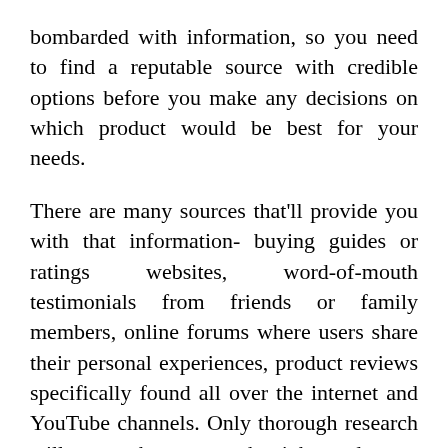bombarded with information, so you need to find a reputable source with credible options before you make any decisions on which product would be best for your needs.
There are many sources that'll provide you with that information- buying guides or ratings websites, word-of-mouth testimonials from friends or family members, online forums where users share their personal experiences, product reviews specifically found all over the internet and YouTube channels. Only thorough research will ensure that you get the right product.
But that's not always easy, right? That's why we've taken time to compile a list of the best Tool Box Drawer Liner in today's market, on your behalf, so that there will be no more worries for you.
How did we come up with the list, you ask? did we create this buying guide?